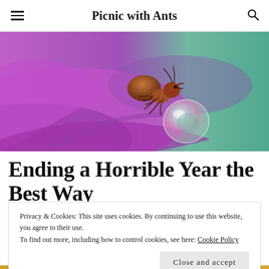Picnic with Ants
[Figure (photo): Macro close-up photo of an ant on a purple flower petal, holding a clear water droplet, with a soft green blurred background.]
Ending a Horrible Year the Best Way
Privacy & Cookies: This site uses cookies. By continuing to use this website, you agree to their use.
To find out more, including how to control cookies, see here: Cookie Policy
Close and accept